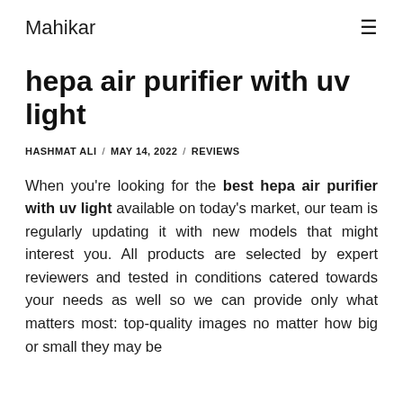Mahikar
hepa air purifier with uv light
HASHMAT ALI / MAY 14, 2022 / REVIEWS
When you're looking for the best hepa air purifier with uv light available on today's market, our team is regularly updating it with new models that might interest you. All products are selected by expert reviewers and tested in conditions catered towards your needs as well so we can provide only what matters most: top-quality images no matter how big or small they may be